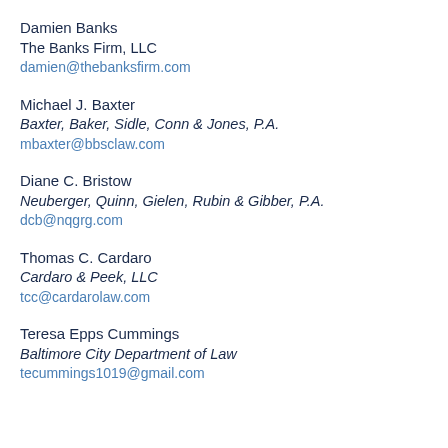Damien Banks
The Banks Firm, LLC
damien@thebanksfirm.com
Michael J. Baxter
Baxter, Baker, Sidle, Conn & Jones, P.A.
mbaxter@bbsclaw.com
Diane C. Bristow
Neuberger, Quinn, Gielen, Rubin & Gibber, P.A.
dcb@nqgrg.com
Thomas C. Cardaro
Cardaro & Peek, LLC
tcc@cardarolaw.com
Teresa Epps Cummings
Baltimore City Department of Law
tecummings1019@gmail.com